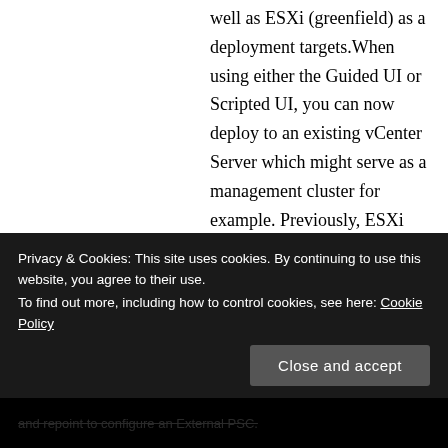well as ESXi (greenfield) as a deployment targets.When using either the Guided UI or Scripted UI, you can now deploy to an existing vCenter Server which might serve as a management cluster for example. Previously, ESXi was the only supported deployment target.
Convert Embedded VCSA to External PSC - An Embedded VCSA deployment can now be re-configured or re-pointed to an External PSC using the new "reconfigure" and "repoint" option found in the /bin/cmsso-
Privacy & Cookies: This site uses cookies. By continuing to use this website, you agree to their use. To find out more, including how to control cookies, see here: Cookie Policy
Close and accept